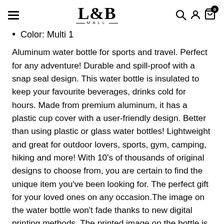L&B MALL
Color: Multi 1
Aluminum water bottle for sports and travel. Perfect for any adventure! Durable and spill-proof with a snap seal design. This water bottle is insulated to keep your favourite beverages, drinks cold for hours. Made from premium aluminum, it has a plastic cup cover with a user-friendly design. Better than using plastic or glass water bottles! Lightweight and great for outdoor lovers, sports, gym, camping, hiking and more! With 10's of thousands of original designs to choose from, you are certain to find the unique item you've been looking for. The perfect gift for your loved ones on any occasion.The image on the water bottle won't fade thanks to new digital printing methods. The printed image on the bottle is 8.2 wide and 4 in height. It's Environmentally friendly, only Eco-friendly inks used, safe to use! No dye substance harming the health of your family. It is a perfect gift idea for your kids, husband, wife, best